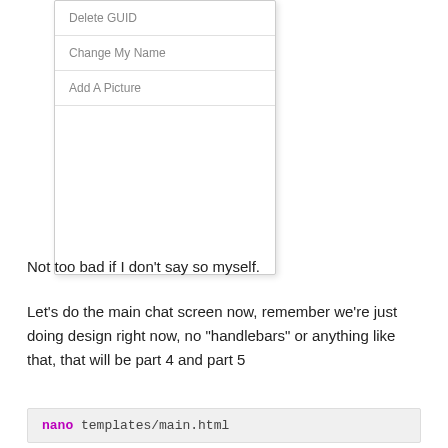[Figure (screenshot): A dropdown/context menu UI element showing three menu items: 'Delete GUID', 'Change My Name', 'Add A Picture', followed by a blank white area, all inside a bordered card with shadow.]
Not too bad if I don't say so myself.
Let’s do the main chat screen now, remember we’re just doing design right now, no “handlebars” or anything like that, that will be part 4 and part 5
nano templates/main.html